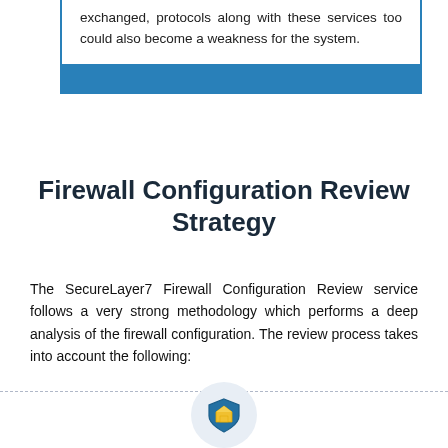exchanged, protocols along with these services too could also become a weakness for the system.
Firewall Configuration Review Strategy
The SecureLayer7 Firewall Configuration Review service follows a very strong methodology which performs a deep analysis of the firewall configuration. The review process takes into account the following:
[Figure (illustration): A shield icon with yellow and blue colors centered at the bottom of the page, with a dashed horizontal line across the bottom]